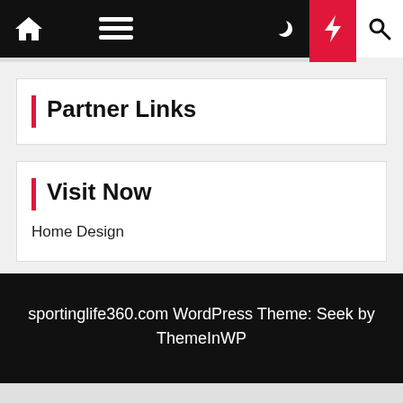Home | Menu | Moon | Bolt | Search
Partner Links
Visit Now
Home Design
sportinglife360.com WordPress Theme: Seek by ThemeInWP